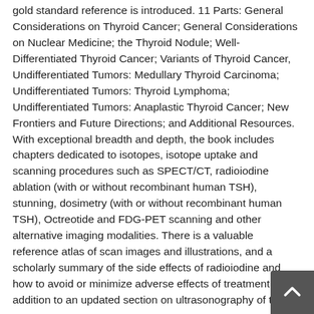gold standard reference is introduced. 11 Parts: General Considerations on Thyroid Cancer; General Considerations on Nuclear Medicine; the Thyroid Nodule; Well-Differentiated Thyroid Cancer; Variants of Thyroid Cancer, Undifferentiated Tumors: Medullary Thyroid Carcinoma; Undifferentiated Tumors: Thyroid Lymphoma; Undifferentiated Tumors: Anaplastic Thyroid Cancer; New Frontiers and Future Directions; and Additional Resources. With exceptional breadth and depth, the book includes chapters dedicated to isotopes, isotope uptake and scanning procedures such as SPECT/CT, radioiodine ablation (with or without recombinant human TSH), stunning, dosimetry (with or without recombinant human TSH), Octreotide and FDG-PET scanning and other alternative imaging modalities. There is a valuable reference atlas of scan images and illustrations, and a scholarly summary of the side effects of radioiodine and how to avoid or minimize adverse effects of treatment. In addition to an updated section on ultrasonography of the